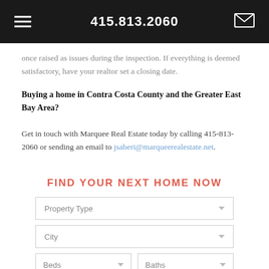415.813.2060
once raised as issues during the inspection. If everything is deemed satisfactory, have your realtor set a closing date.
Buying a home in Contra Costa County and the Greater East Bay Area?
Get in touch with Marquee Real Estate today by calling 415-813-2060 or sending an email to jsaberi@marqueerealestate.net.
FIND YOUR NEXT HOME NOW
Property Type
City
Beds
Baths
Min. Price
Max. Price